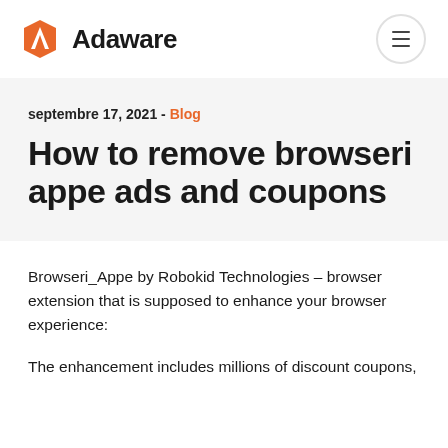Adaware
septembre 17, 2021 - Blog
How to remove browseri appe ads and coupons
Browseri_Appe by Robokid Technologies – browser extension that is supposed to enhance your browser experience:
The enhancement includes millions of discount coupons,